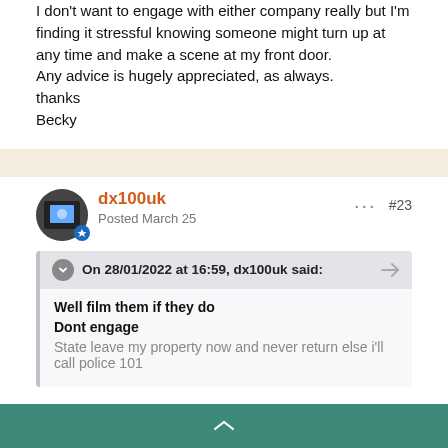I don't want to engage with either company really but I'm finding it stressful knowing someone might turn up at any time and make a scene at my front door.
Any advice is hugely appreciated, as always.
thanks
Becky
dx100uk
Posted March 25
#23
On 28/01/2022 at 16:59, dx100uk said:
Well film them if they do
Dont engage
State leave my property now and never return else i'll call police 101